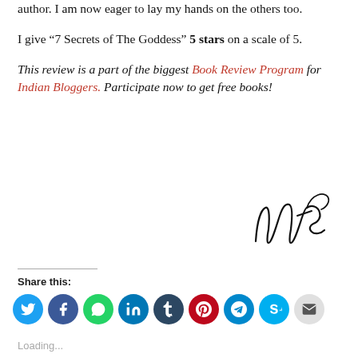author. I am now eager to lay my hands on the others too.
I give ‘7 Secrets of The Goddess’ 5 stars on a scale of 5.
This review is a part of the biggest Book Review Program for Indian Bloggers. Participate now to get free books!
[Figure (illustration): Handwritten cursive signature reading 'Nats']
Share this:
[Figure (infographic): Row of social media share icon circles: Twitter (blue), Facebook (blue), WhatsApp (green), LinkedIn (dark blue), Tumblr (dark navy), Pinterest (red/crimson), Telegram (light blue), Skype (light blue), Email (light gray)]
Loading...